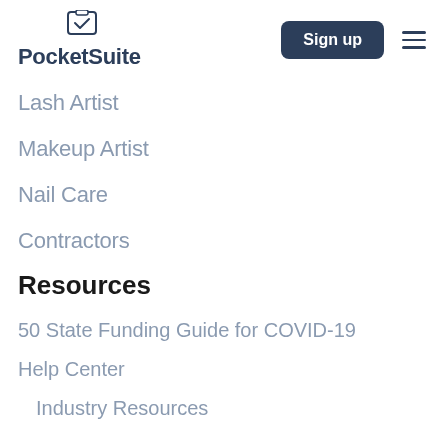PocketSuite — Sign up
Lash Artist
Makeup Artist
Nail Care
Contractors
Resources
50 State Funding Guide for COVID-19
Help Center
Industry Resources